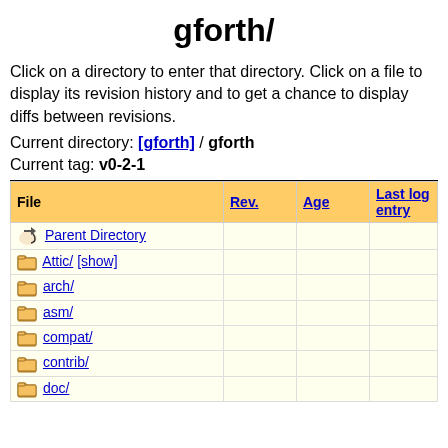gforth/
Click on a directory to enter that directory. Click on a file to display its revision history and to get a chance to display diffs between revisions.
Current directory: [gforth] / gforth
Current tag: v0-2-1
| File | Rev. | Age | Last log entry |
| --- | --- | --- | --- |
| Parent Directory |  |  |  |
| Attic/ [show] |  |  |  |
| arch/ |  |  |  |
| asm/ |  |  |  |
| compat/ |  |  |  |
| contrib/ |  |  |  |
| doc/ |  |  |  |